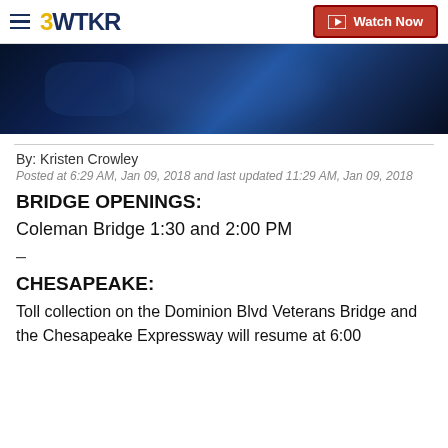3WTKR | Watch Now
[Figure (photo): Dark blue-toned video still or news thumbnail image with indistinct figures]
By: Kristen Crowley
Posted at 6:29 AM, Jan 09, 2018 and last updated 11:29 AM, Jan 09, 2018
BRIDGE OPENINGS:
Coleman Bridge 1:30 and 2:00 PM
–
CHESAPEAKE:
Toll collection on the Dominion Blvd Veterans Bridge and the Chesapeake Expressway will resume at 6:00